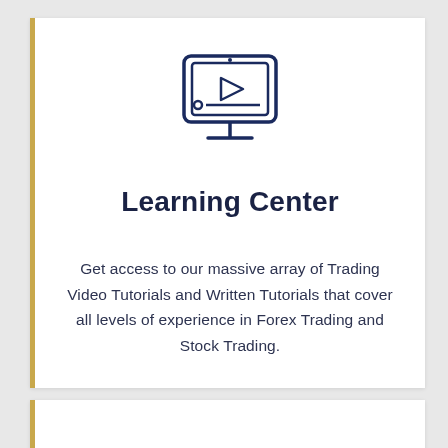[Figure (illustration): Monitor/screen icon with a play button triangle and a progress bar, drawn in dark navy outline style]
Learning Center
Get access to our massive array of Trading Video Tutorials and Written Tutorials that cover all levels of experience in Forex Trading and Stock Trading.
[Figure (illustration): Partial briefcase icon at the bottom, drawn in dark navy outline style]